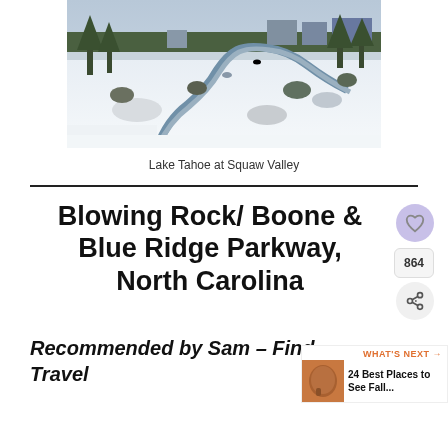[Figure (photo): Winter snow scene at Lake Tahoe showing a winding creek/river through a snow-covered landscape with trees and buildings in the background]
Lake Tahoe at Squaw Valley
Blowing Rock/ Boone & Blue Ridge Parkway, North Carolina
Recommended by Sam – Find Travel
WHAT'S NEXT → 24 Best Places to See Fall...